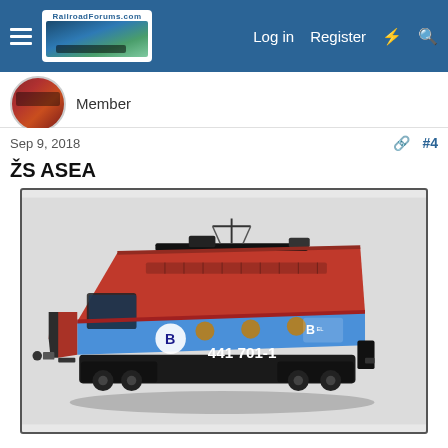RailroadForums.com | Log in | Register
Member
Sep 9, 2018  #4
ŽS ASEA
[Figure (illustration): 3D rendered model of a red and blue electric locomotive numbered 441 701-1, shown from a three-quarter front-left angle on a light grey background. The locomotive has a red upper body and blue lower body with black undercarriage. It displays the number 441 701-1 on the side and a stylized B logo.]